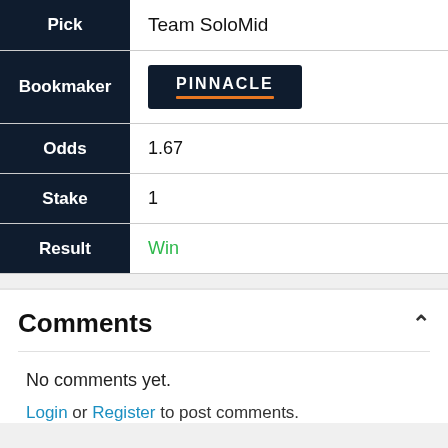| Field | Value |
| --- | --- |
| Pick | Team SoloMid |
| Bookmaker | PINNACLE |
| Odds | 1.67 |
| Stake | 1 |
| Result | Win |
Comments
No comments yet.
Login or Register to post comments.
Petar